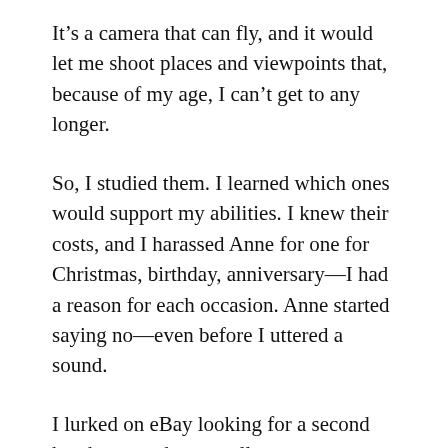It's a camera that can fly, and it would let me shoot places and viewpoints that, because of my age, I can't get to any longer.
So, I studied them. I learned which ones would support my abilities. I knew their costs, and I harassed Anne for one for Christmas, birthday, anniversary—I had a reason for each occasion. Anne started saying no—even before I uttered a sound.
I lurked on eBay looking for a second hand one, and eventually one came up, so I put a stupid bid on it. You know—an effort that surely wouldn't win. Days passed with no other bidders, so with shoulders slumped and head